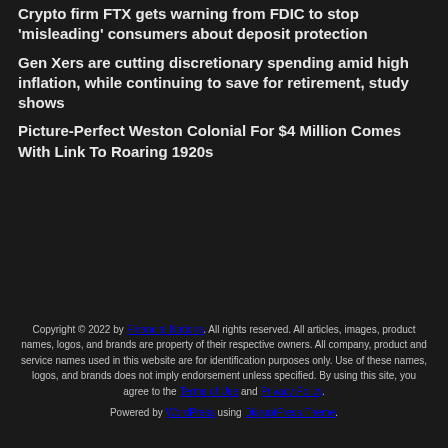Crypto firm FTX gets warning from FDIC to stop 'misleading' consumers about deposit protection
Gen Xers are cutting discretionary spending amid high inflation, while continuing to save for retirement, study shows
Picture-Perfect Weston Colonial For $4 Million Comes With Link To Roaring 1920s
Copyright © 2022 by Financial Nations. All rights reserved. All articles, images, product names, logos, and brands are property of their respective owners. All company, product and service names used in this website are for identification purposes only. Use of these names, logos, and brands does not imply endorsement unless specified. By using this site, you agree to the Terms of Use and Privacy Policy. Powered by WordPress using DisruptPress Theme.